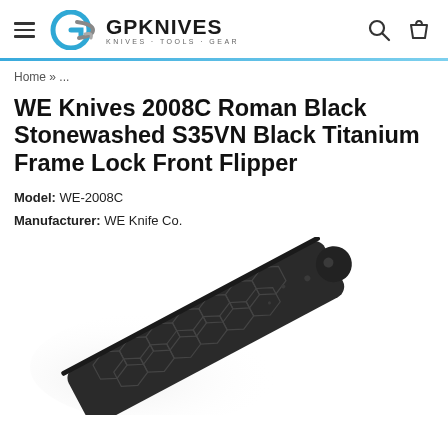GPKNIVES KNIVES · TOOLS · GEAR
Home » ...
WE Knives 2008C Roman Black Stonewashed S35VN Black Titanium Frame Lock Front Flipper
Model: WE-2008C
Manufacturer: WE Knife Co.
[Figure (photo): Product photo of a black titanium folding knife with a geometric/honeycomb pattern on the handle, shown diagonally from bottom-left to upper-right against a white background.]